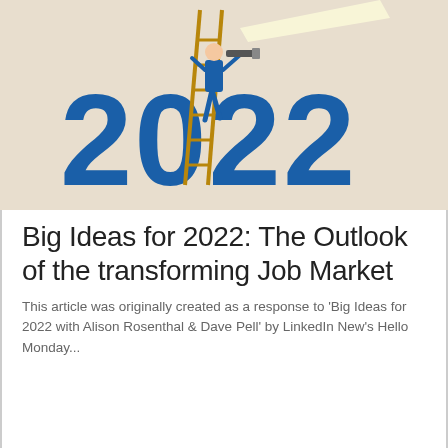[Figure (illustration): Illustration on beige/tan background showing the bold blue text '2022' with a businessman in a blue suit climbing a wooden ladder that leans against the numbers, looking through a telescope at the top. A beam of light shines from the telescope toward the upper right.]
Big Ideas for 2022: The Outlook of the transforming Job Market
This article was originally created as a response to 'Big Ideas for 2022 with Alison Rosenthal & Dave Pell' by LinkedIn New's Hello Monday...